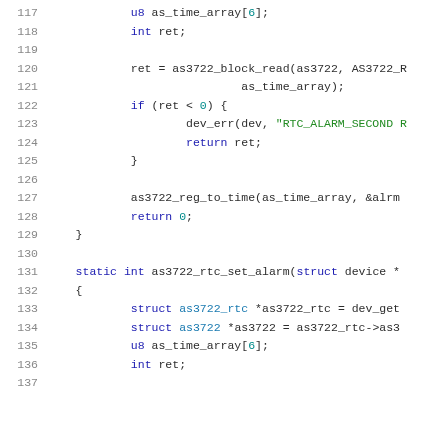[Figure (screenshot): Source code listing in a syntax-highlighted code editor showing C code lines 117–137 involving RTC alarm functions for the AS3722 chip. Lines include variable declarations, a block read call, error handling, and the start of as3722_rtc_set_alarm function.]